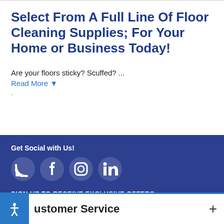Select From A Full Line Of Floor Cleaning Supplies; For Your Home or Business Today!
Are your floors sticky? Scuffed? ...
Read More ▼
Get Social with Us!
[Figure (infographic): Social media icons: RSS feed, Facebook, Instagram, LinkedIn]
SIGN UP TO RECEIVE EXCLUSIVE OFFERS
[Figure (infographic): Email signup form with input field 'Enter your email address' and 'SIGN ME UP!' button]
ustomer Service